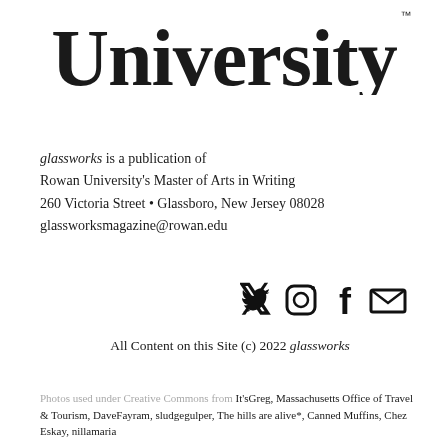[Figure (logo): Rowan University logo showing large bold serif text 'University' with trademark symbol]
glassworks is a publication of Rowan University's Master of Arts in Writing 260 Victoria Street • Glassboro, New Jersey 08028 glassworksmagazine@rowan.edu
[Figure (other): Social media icons: Twitter bird, Instagram camera, Facebook f, and envelope/email icon]
All Content on this Site (c) 2022 glassworks
Photos used under Creative Commons from It'sGreg, Massachusetts Office of Travel & Tourism, DaveFayram, sludgegulper, The hills are alive*, Canned Muffins, Chez Eskay, nillamaria